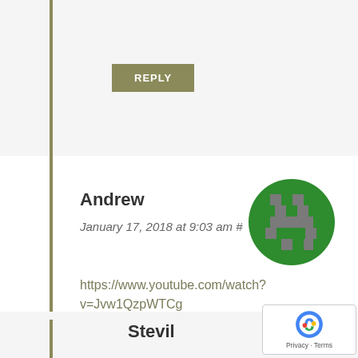[Figure (other): REPLY button (olive/khaki green) at top of page]
Andrew
January 17, 2018 at 9:03 am #
[Figure (illustration): Circular avatar with green and grey pixel/block pattern on green background]
https://www.youtube.com/watch?v=Jvw1QzpWTCg
[Figure (other): REPLY button (olive/khaki green)]
Stevil
[Figure (photo): Circular avatar, dark image, partially visible at bottom right]
[Figure (other): Google reCAPTCHA privacy badge with logo and Privacy/Terms text]